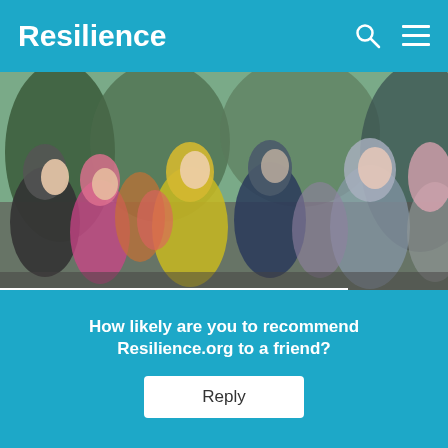Resilience
[Figure (photo): Crowd of people gathered outdoors, colorful clothing, protest or festival scene]
With XR Disrupting London's Streets
By Naresh Giangrande, originally published by Resilience.org
November 5, 2019
How likely are you to recommend Resilience.org to a friend?
Reply